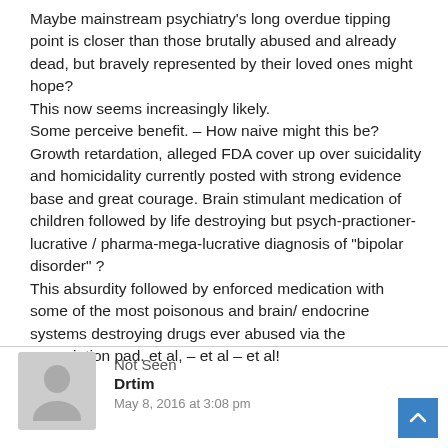Maybe mainstream psychiatry's long overdue tipping point is closer than those brutally abused and already dead, but bravely represented by their loved ones might hope?
This now seems increasingly likely.
Some perceive benefit. – How naive might this be?
Growth retardation, alleged FDA cover up over suicidality and homicidality currently posted with strong evidence base and great courage. Brain stimulant medication of children followed by life destroying but psych-practioner-lucrative / pharma-mega-lucrative diagnosis of "bipolar disorder" ?
This absurdity followed by enforced medication with some of the most poisonous and brain/ endocrine systems destroying drugs ever abused via the prescription pad. et al, – et al – et al!
Not Seen
Drtim
May 8, 2016 at 3:08 pm